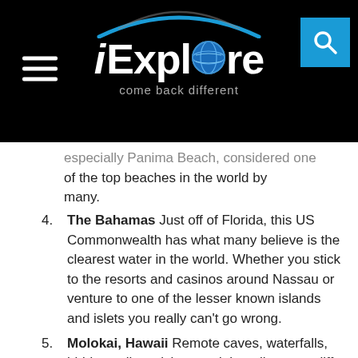iExplore — come back different
especially Panima Beach, considered one of the top beaches in the world by many.
4. The Bahamas Just off of Florida, this US Commonwealth has what many believe is the clearest water in the world. Whether you stick to the resorts and casinos around Nassau or venture to one of the lesser known islands and islets you really can't go wrong.
5. Molokai, Hawaii Remote caves, waterfalls, hidden valleys, islets, and the tallest sea cliffs in the world make are only part of the north coast of Molokai's wild enchantment.